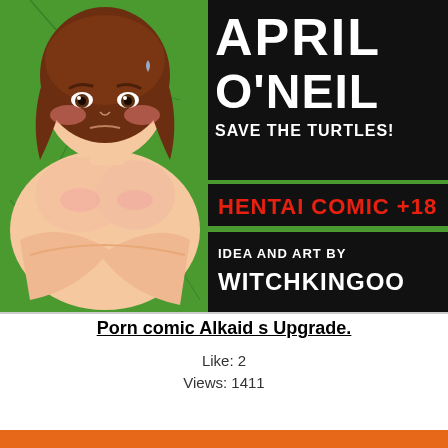[Figure (illustration): Comic book cover illustration showing an anime-style female character with brown hair, blushing cheeks, arms crossed over chest, on green background. Right side has black panels with white bold text reading 'APRIL O'NEIL SAVE THE TURTLES!' and red text 'HENTAI COMIC +18' and white text 'IDEA AND ART BY WITCHKINGOO']
Porn comic Alkaid s Upgrade.
Like: 2
Views: 1411